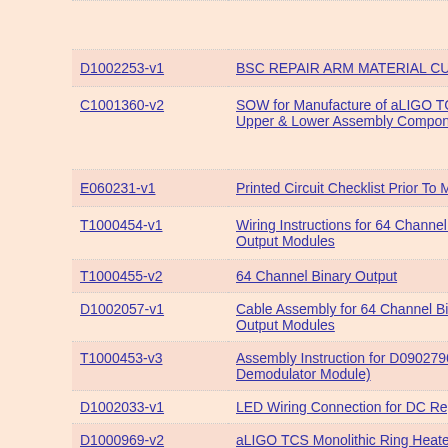| Document ID | Title |
| --- | --- |
| D1002253-v1 | BSC REPAIR ARM MATERIAL CUT LI... |
| C1001360-v2 | SOW for Manufacture of aLIGO TCS R... Upper & Lower Assembly Components... |
| E060231-v1 | Printed Circuit Checklist Prior To Manu... |
| T1000454-v1 | Wiring Instructions for 64 Channel Bina... Output Modules |
| T1000455-v2 | 64 Channel Binary Output |
| D1002057-v1 | Cable Assembly for 64 Channel Binary... Output Modules |
| T1000453-v3 | Assembly Instruction for D0902796 (Q... Demodulator Module) |
| D1002033-v1 | LED Wiring Connection for DC Regula... |
| D1000969-v2 | aLIGO TCS Monolithic Ring Heater Sh... |